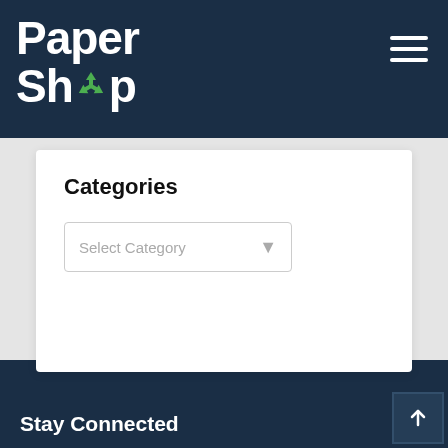Paper Shop — navigation header with logo and hamburger menu
Categories
Select Category
Stay Connected